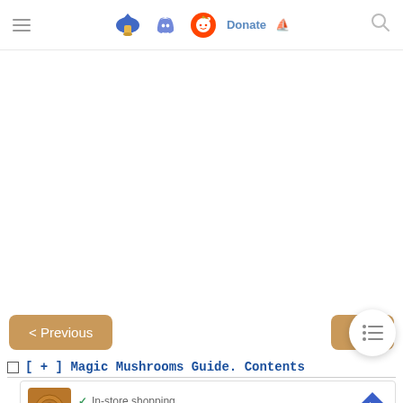Navigation header with hamburger menu, mushroom logo, Discord icon, Reddit icon, Donate link, and search icon
[Figure (screenshot): Large white blank content area (advertisement or image placeholder)]
< Previous
N
[Figure (other): Floating table of contents button (white circle with list icon)]
[ + ] Magic Mushrooms Guide. Contents
[Figure (infographic): Ad card showing a cinnamon roll image with checkmarks: In-store shopping, In-store pickup, and a directional arrow icon]
✓ In-store shopping
✓ In-store pickup